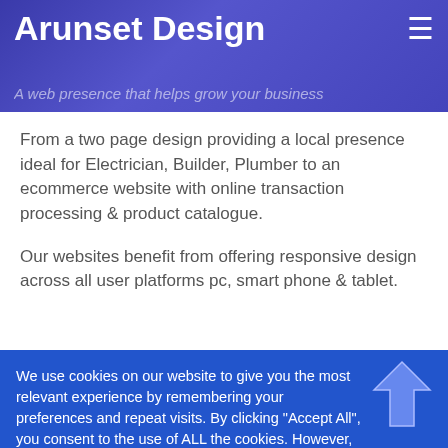Arunset Design
From a two page design providing a local presence ideal for Electrician, Builder, Plumber to an ecommerce website with online transaction processing & product catalogue.
Our websites benefit from offering responsive design across all user platforms pc, smart phone & tablet.
We use cookies on our website to give you the most relevant experience by remembering your preferences and repeat visits. By clicking "Accept All", you consent to the use of ALL the cookies. However, you may visit "Cookie Settings" to provide a controlled consent.